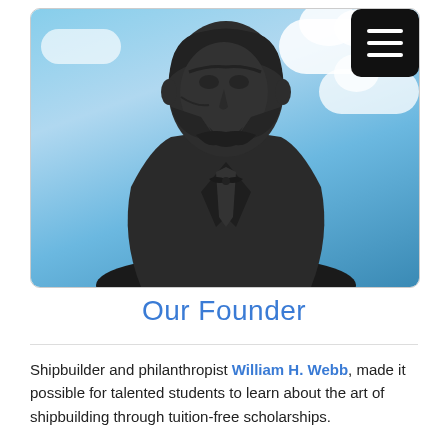[Figure (photo): Bronze statue bust of William H. Webb against a blue sky with white clouds. The statue shows a man in 19th century attire with a bow tie, facing left.]
Our Founder
Shipbuilder and philanthropist William H. Webb, made it possible for talented students to learn about the art of shipbuilding through tuition-free scholarships.